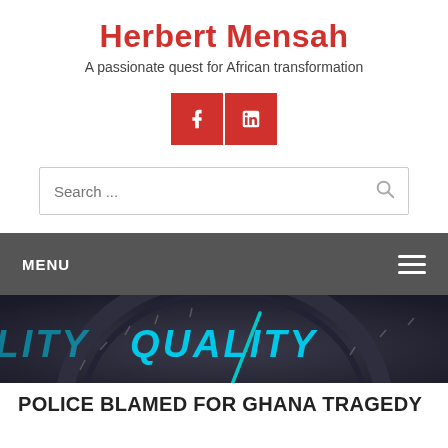Herbert Mensah
A passionate quest for African transformation
[Figure (infographic): Two red square social media icon buttons: Facebook (f icon) and LinkedIn (in icon)]
[Figure (screenshot): Search bar with placeholder text 'Search ...' and a magnifying glass icon on the right]
MENU
[Figure (photo): Close-up photo of a speedometer dial with the word QUALITY written in large cyan/teal letters, pointing arrow indicating high quality level]
POLICE BLAMED FOR GHANA TRAGEDY